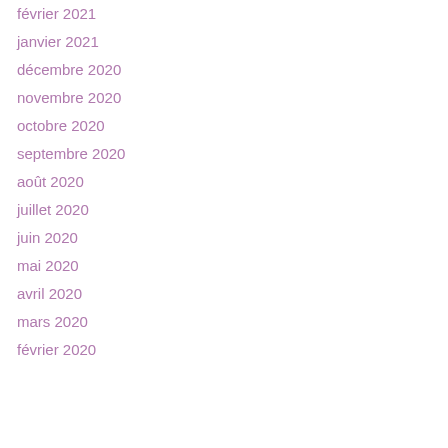février 2021
janvier 2021
décembre 2020
novembre 2020
octobre 2020
septembre 2020
août 2020
juillet 2020
juin 2020
mai 2020
avril 2020
mars 2020
février 2020